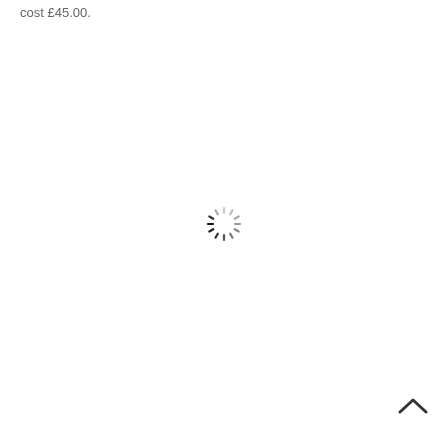cost £45.00.
[Figure (other): A loading spinner icon (circular dashed spinner) centered on the page, with radiating dark tick marks suggesting rotation.]
[Figure (other): An upward-pointing chevron/caret arrow icon in the bottom-right area of the page.]